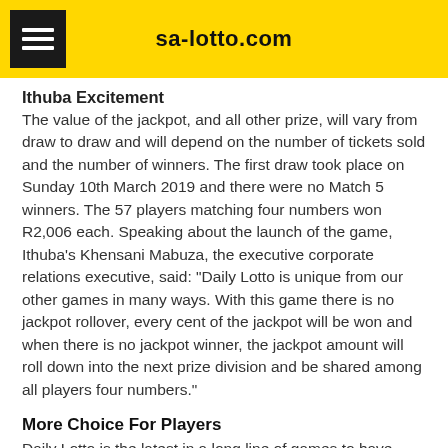sa-lotto.com
Ithuba Excitement
The value of the jackpot, and all other prize, will vary from draw to draw and will depend on the number of tickets sold and the number of winners. The first draw took place on Sunday 10th March 2019 and there were no Match 5 winners. The 57 players matching four numbers won R2,006 each. Speaking about the launch of the game, Ithuba's Khensani Mabuza, the executive corporate relations executive, said: "Daily Lotto is unique from our other games in many ways. With this game there is no jackpot rollover, every cent of the jackpot will be won and when there is no jackpot winner, the jackpot amount will roll down into the next prize division and be shared among all players four numbers."
More Choice For Players
Daily Lotto is the latest in a long line of games to have been introduced by Ithuba, with the aim to generate more excitement and raise more money for charitable causes across the country.
Lotto, Lotto Plus 1 and Lotto 2 - which are all separate from the new Daily Lotto game - are played every Wednesday and Saturday. You can play Powerball and Powerball Plus every Tuesday and Friday, while Pick 3 is a daily game. Rapido is